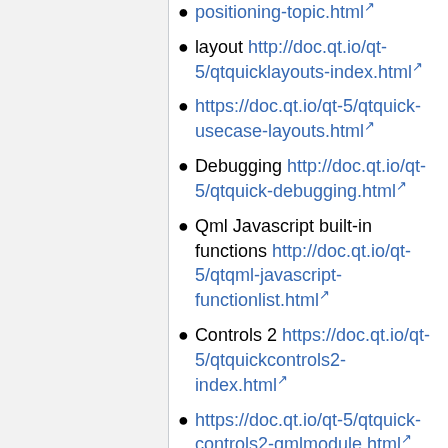positioning-topic.html [external link]
layout http://doc.qt.io/qt-5/qtquicklayouts-index.html [external link]
https://doc.qt.io/qt-5/qtquick-usecase-layouts.html [external link]
Debugging http://doc.qt.io/qt-5/qtquick-debugging.html [external link]
Qml Javascript built-in functions http://doc.qt.io/qt-5/qtqml-javascript-functionlist.html [external link]
Controls 2 https://doc.qt.io/qt-5/qtquickcontrols2-index.html [external link]
https://doc.qt.io/qt-5/qtquick-controls2-qmlmodule.html [external link]
In order to debug QML you can use GammaRay from KDAB:
https://github.com/KDAB/GammaRay/wiki/Getting-GammaRay [external link]
Here are some video links to learn how...